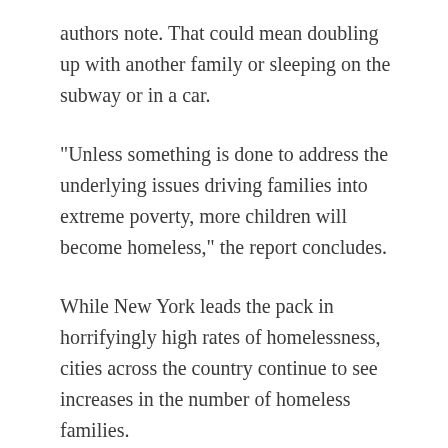authors note. That could mean doubling up with another family or sleeping on the subway or in a car.
"Unless something is done to address the underlying issues driving families into extreme poverty, more children will become homeless," the report concludes.
While New York leads the pack in horrifyingly high rates of homelessness, cities across the country continue to see increases in the number of homeless families.
A 2013 estimate by the Department of Education highlighted by the Huffington